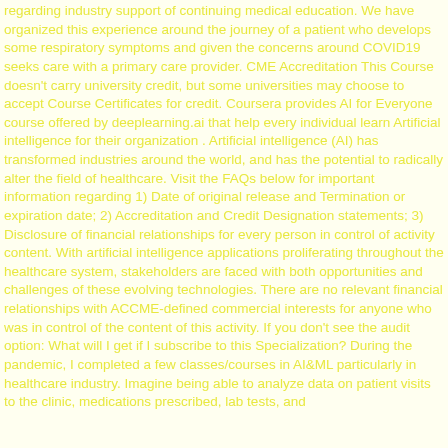regarding industry support of continuing medical education. We have organized this experience around the journey of a patient who develops some respiratory symptoms and given the concerns around COVID19 seeks care with a primary care provider. CME Accreditation This Course doesn't carry university credit, but some universities may choose to accept Course Certificates for credit. Coursera provides AI for Everyone course offered by deeplearning.ai that help every individual learn Artificial intelligence for their organization . Artificial intelligence (AI) has transformed industries around the world, and has the potential to radically alter the field of healthcare. Visit the FAQs below for important information regarding 1) Date of original release and Termination or expiration date; 2) Accreditation and Credit Designation statements; 3) Disclosure of financial relationships for every person in control of activity content. With artificial intelligence applications proliferating throughout the healthcare system, stakeholders are faced with both opportunities and challenges of these evolving technologies. There are no relevant financial relationships with ACCME-defined commercial interests for anyone who was in control of the content of this activity. If you don't see the audit option: What will I get if I subscribe to this Specialization? During the pandemic, I completed a few classes/courses in AI&ML particularly in healthcare industry. Imagine being able to analyze data on patient visits to the clinic, medications prescribed, lab tests, and